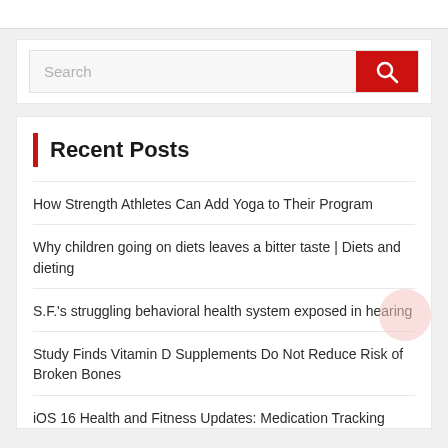[Figure (screenshot): Search bar with red search button and magnifying glass icon]
Recent Posts
How Strength Athletes Can Add Yoga to Their Program
Why children going on diets leaves a bitter taste | Diets and dieting
S.F.'s struggling behavioral health system exposed in hearing
Study Finds Vitamin D Supplements Do Not Reduce Risk of Broken Bones
iOS 16 Health and Fitness Updates: Medication Tracking